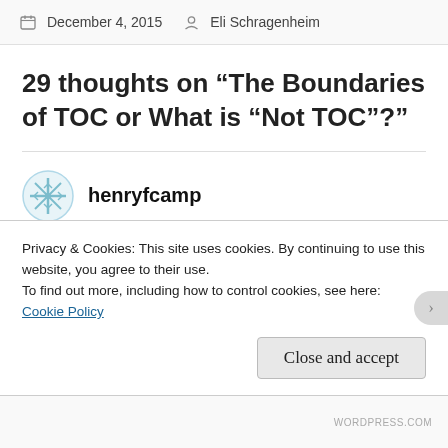December 4, 2015  Eli Schragenheim
29 thoughts on “The Boundaries of TOC or What is “Not TOC”?”
henryfcamp
December 4, 2015 at 3:50 pm
Eli, this is a lovely post. I am amazed that you can
Privacy & Cookies: This site uses cookies. By continuing to use this website, you agree to their use.
To find out more, including how to control cookies, see here: Cookie Policy
Close and accept